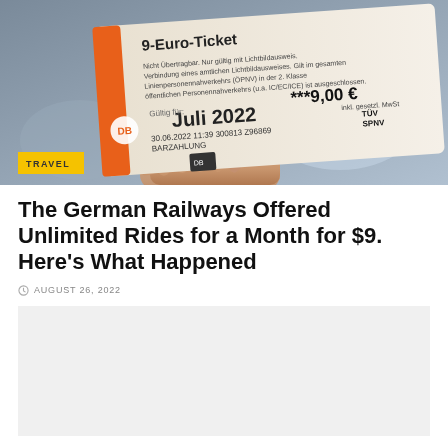[Figure (photo): A hand holding a German 9-Euro-Ticket transit pass, dated Juli 2022, showing the price of 9.00 EUR, with a yellow TRAVEL badge overlay in the bottom left corner.]
The German Railways Offered Unlimited Rides for a Month for $9. Here's What Happened
AUGUST 26, 2022
[Figure (other): Gray placeholder rectangle for an advertisement or embedded content]